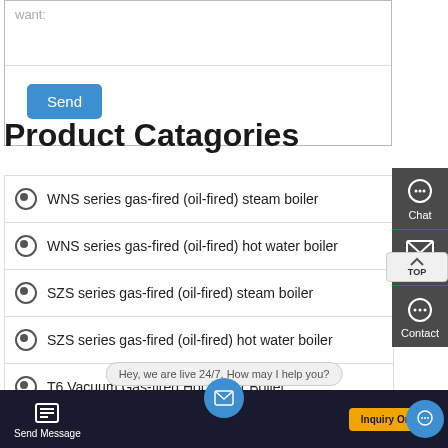want:
Send
Product Catagories
WNS series gas-fired (oil-fired) steam boiler
WNS series gas-fired (oil-fired) hot water boiler
SZS series gas-fired (oil-fired) steam boiler
SZS series gas-fired (oil-fired) hot water boiler
T6 Vacuum Gas-fired Hot Water Boiler
Chat
Email
Contact
Send Message | Hey, we are live 24/7. How may I help you? | Inquiry Online